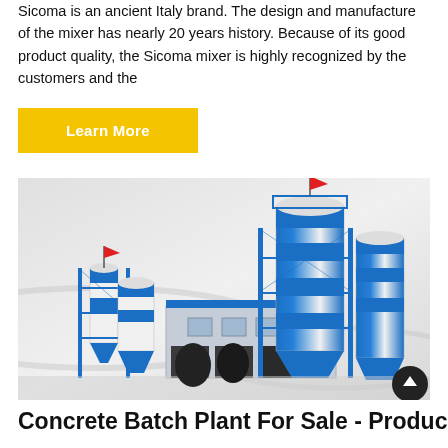Sicoma is an ancient Italy brand. The design and manufacture of the mixer has nearly 20 years history. Because of its good product quality, the Sicoma mixer is highly recognized by the customers and the
Learn More
[Figure (photo): Industrial concrete batching plant with blue and white cylindrical silos, steel framework, and red flags on top. Multiple silos of different sizes arranged around a central building with garage doors.]
Concrete Batch Plant For Sale - Produce